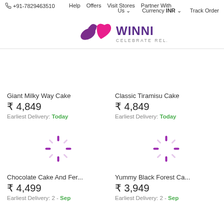+91-7829463510  Help  Offers  Visit Stores  Partner With Us  Currency INR  Track Order
[Figure (logo): Winni - Celebrate Relations logo with heart/love symbol in purple and pink]
Giant Milky Way Cake
₹ 4,849
Earliest Delivery: Today
Classic Tiramisu Cake
₹ 4,849
Earliest Delivery: Today
[Figure (illustration): Loading spinner (purple dashes in circular pattern)]
[Figure (illustration): Loading spinner (purple dashes in circular pattern)]
Chocolate Cake And Fer...
₹ 4,499
Earliest Delivery: 2 - Sep
Yummy Black Forest Ca...
₹ 3,949
Earliest Delivery: 2 - Sep